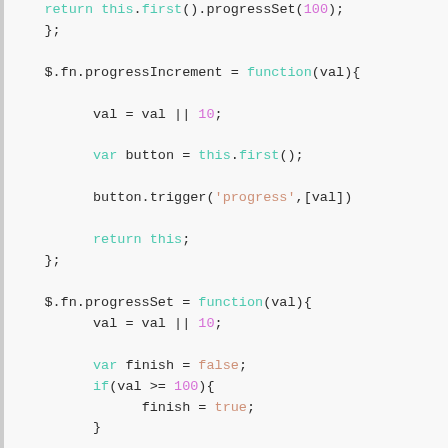[Figure (screenshot): Code snippet showing JavaScript jQuery plugin methods: progressIncrement and progressSet functions with syntax highlighting. Code shows return this.first().progressSet(100) at top, then $.fn.progressIncrement = function(val) block, then $.fn.progressSet = function(val) block, ending with a comment line about creating a progress meter.]